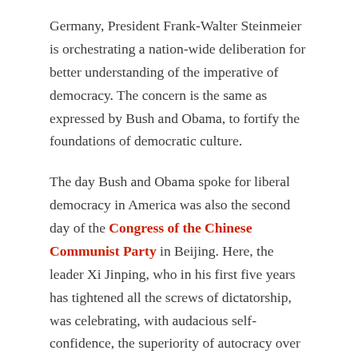Germany, President Frank-Walter Steinmeier is orchestrating a nation-wide deliberation for better understanding of the imperative of democracy. The concern is the same as expressed by Bush and Obama, to fortify the foundations of democratic culture.
The day Bush and Obama spoke for liberal democracy in America was also the second day of the Congress of the Chinese Communist Party in Beijing. Here, the leader Xi Jinping, who in his first five years has tightened all the screws of dictatorship, was celebrating, with audacious self-confidence, the superiority of autocracy over democracy.
In a comment (in the Süddeutsche Zeitung), the German author Kai Strittmatter called on the liberal democracies to "find their voice" up against the challenges of a threatening